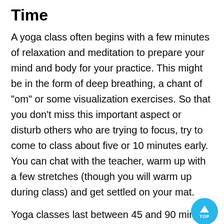Time
A yoga class often begins with a few minutes of relaxation and meditation to prepare your mind and body for your practice. This might be in the form of deep breathing, a chant of "om" or some visualization exercises. So that you don't miss this important aspect or disturb others who are trying to focus, try to come to class about five or 10 minutes early. You can chat with the teacher, warm up with a few stretches (though you will warm up during class) and get settled on your mat.
Yoga classes last between 45 and 90 minutes